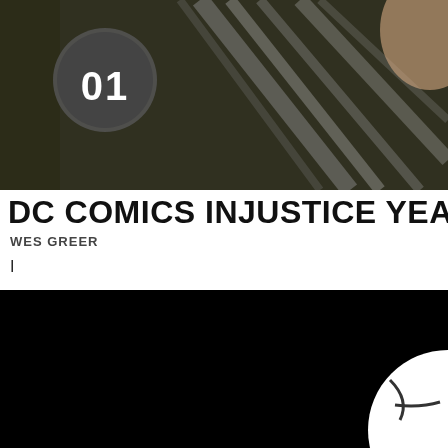[Figure (photo): Top portion of a comic book cover showing issue number '01' in a circular badge on the left, with dark hair/background imagery on the right.]
DC COMICS INJUSTICE YEAR
WES GREER
I
[Figure (photo): Bottom portion of a comic book cover with a predominantly black background and a partial white circular shape (possibly a moon or helmet) visible in the bottom-right corner.]